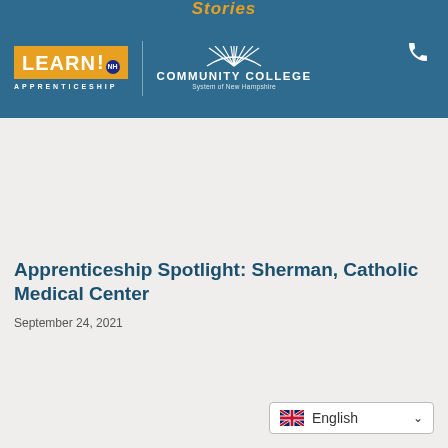Stories
[Figure (logo): LEARN NH Apprenticeship logo and Community College System of New Hampshire logo in a teal/blue navigation header bar]
Apprenticeship Spotlight: Sherman, Catholic Medical Center
September 24, 2021
[Figure (other): Language selector dropdown showing English with UK flag]